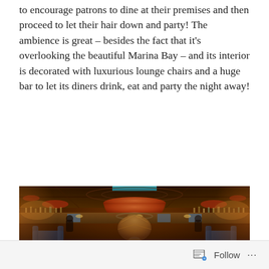to encourage patrons to dine at their premises and then proceed to let their hair down and party! The ambience is great – besides the fact that it's overlooking the beautiful Marina Bay – and its interior is decorated with luxurious lounge chairs and a huge bar to let its diners drink, eat and party the night away!
[Figure (photo): Interior of a luxurious restaurant/bar with warm amber lighting, a large red pendant lamp hanging from a decorated ceiling, a long bar shelf with bottles in the background, velvet lounge chairs in the foreground, and a large floral centerpiece arrangement in the middle.]
Follow ···